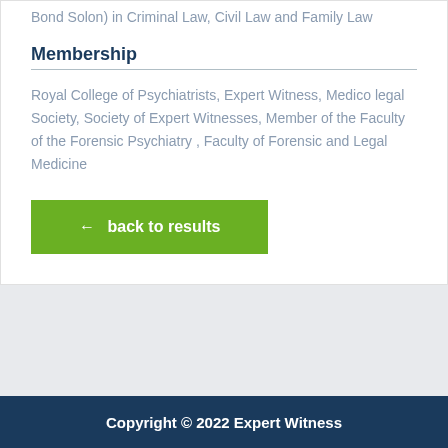Bond Solon) in Criminal Law, Civil Law and Family Law
Membership
Royal College of Psychiatrists, Expert Witness, Medico legal Society, Society of Expert Witnesses, Member of the Faculty of the Forensic Psychiatry , Faculty of Forensic and Legal Medicine
← back to results
Copyright © 2022 Expert Witness